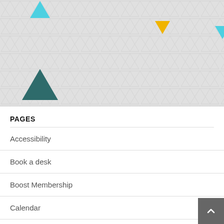[Figure (map): A map view with triangular markers in various colors: cyan upward triangle top-left, gold downward triangles, cyan downward triangle center, dark teal upward triangle bottom-left, gold downward triangle right-center, red downward triangle top-right, white/light downward triangle right. Background is light gray with subtle triangular grid pattern.]
PAGES
Accessibility
Book a desk
Boost Membership
Calendar
Contact